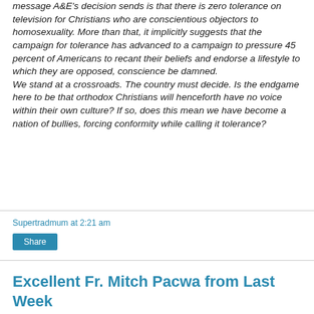message A&E's decision sends is that there is zero tolerance on television for Christians who are conscientious objectors to homosexuality. More than that, it implicitly suggests that the campaign for tolerance has advanced to a campaign to pressure 45 percent of Americans to recant their beliefs and endorse a lifestyle to which they are opposed, conscience be damned.
We stand at a crossroads. The country must decide. Is the endgame here to be that orthodox Christians will henceforth have no voice within their own culture? If so, does this mean we have become a nation of bullies, forcing conformity while calling it tolerance?
Supertradmum at 2:21 am
Share
Excellent Fr. Mitch Pacwa from Last Week